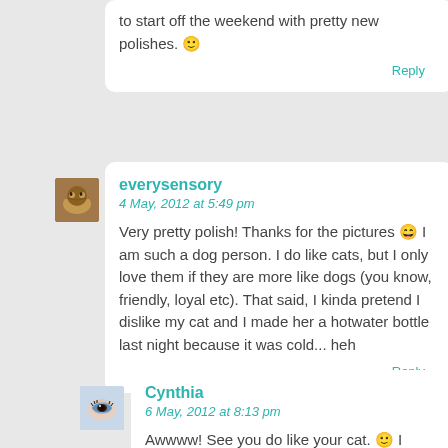to start off the weekend with pretty new polishes. 🙂
Reply
everysensory
4 May, 2012 at 5:49 pm
Very pretty polish! Thanks for the pictures 😄 I am such a dog person. I do like cats, but I only love them if they are more like dogs (you know, friendly, loyal etc). That said, I kinda pretend I dislike my cat and I made her a hotwater bottle last night because it was cold... heh
Reply
Cynthia
6 May, 2012 at 8:13 pm
Awwww! See you do like your cat. 🙂 I